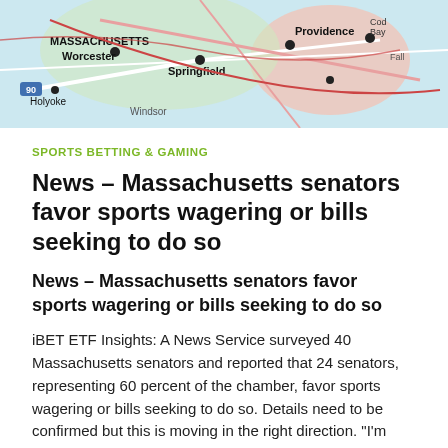[Figure (map): Aerial/satellite-style road map of Massachusetts showing cities including Worcester, Springfield, Holyoke, Providence, and surrounding areas with colored routes.]
SPORTS BETTING & GAMING
News – Massachusetts senators favor sports wagering or bills seeking to do so
News – Massachusetts senators favor sports wagering or bills seeking to do so
iBET ETF Insights: A News Service surveyed 40 Massachusetts senators and reported that 24 senators, representing 60 percent of the chamber, favor sports wagering or bills seeking to do so. Details need to be confirmed but this is moving in the right direction. "I'm hoping to be able to do that